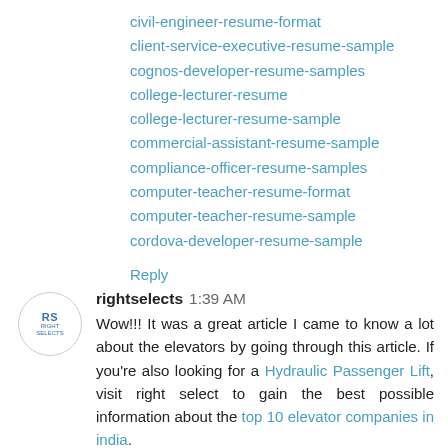civil-engineer-resume-format
client-service-executive-resume-sample
cognos-developer-resume-samples
college-lecturer-resume
college-lecturer-resume-sample
commercial-assistant-resume-sample
compliance-officer-resume-samples
computer-teacher-resume-format
computer-teacher-resume-sample
cordova-developer-resume-sample
Reply
rightselects  1:39 AM
Wow!!! It was a great article I came to know a lot about the elevators by going through this article. If you're also looking for a Hydraulic Passenger Lift, visit right select to gain the best possible information about the top 10 elevator companies in india.
Reply